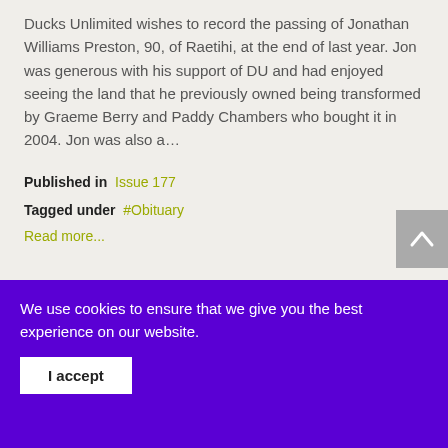Ducks Unlimited wishes to record the passing of Jonathan Williams Preston, 90, of Raetihi, at the end of last year. Jon was generous with his support of DU and had enjoyed seeing the land that he previously owned being transformed by Graeme Berry and Paddy Chambers who bought it in 2004. Jon was also a…
Published in  Issue 177
Tagged under  #Obituary
Read more...
You win some, you lose some
We use cookies to ensure that we give you the best experience on our website.
I accept